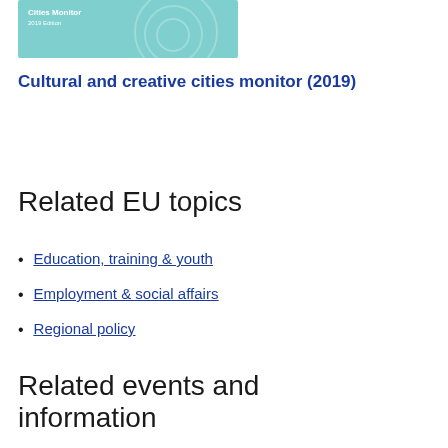[Figure (illustration): Light teal/cyan book cover thumbnail with circular pattern and white text showing publication title and '2019 Edition']
Cultural and creative cities monitor (2019)
Related EU topics
Education, training & youth
Employment & social affairs
Regional policy
Related events and information